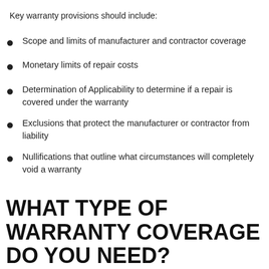Key warranty provisions should include:
Scope and limits of manufacturer and contractor coverage
Monetary limits of repair costs
Determination of Applicability to determine if a repair is covered under the warranty
Exclusions that protect the manufacturer or contractor from liability
Nullifications that outline what circumstances will completely void a warranty
WHAT TYPE OF WARRANTY COVERAGE DO YOU NEED?